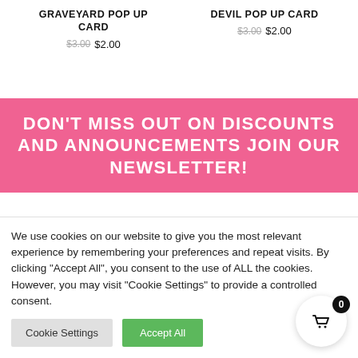GRAVEYARD POP UP CARD
$3.00 $2.00
DEVIL POP UP CARD
$3.00 $2.00
DON'T MISS OUT ON DISCOUNTS AND ANNOUNCEMENTS JOIN OUR NEWSLETTER!
We use cookies on our website to give you the most relevant experience by remembering your preferences and repeat visits. By clicking “Accept All”, you consent to the use of ALL the cookies. However, you may visit "Cookie Settings" to provide a controlled consent.
Cookie Settings
Accept All